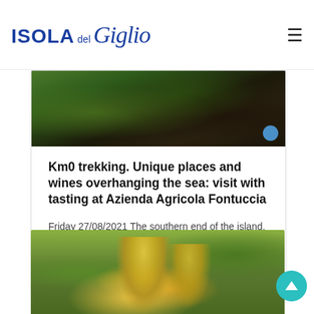ISOLA del Giglio
[Figure (photo): Close-up photograph of dark soil, rocks, and green plant leaves on ground]
Km0 trekking. Unique places and wines overhanging the sea: visit with tasting at Azienda Agricola Fontuccia
Friday 27/08/2021 The southern end of the island, immersed in the magical...
Read More >
[Figure (photo): People wearing yellow beekeeping protective suits and hats in outdoor setting with trees]